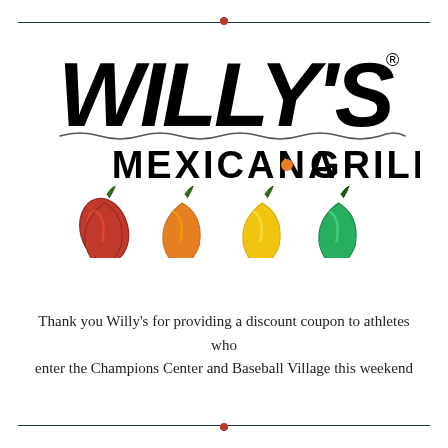[Figure (logo): Willy's Mexicana Grill logo with four jalapeño peppers (red, orange, yellow, green) below the text logo]
Thank you Willy's for providing a discount coupon to athletes who enter the Champions Center and Baseball Village this weekend